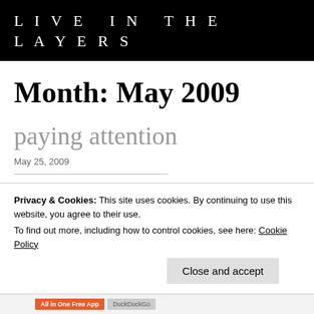LIVE IN THE LAYERS
Month: May 2009
paying attention
May 25, 2009
Privacy & Cookies: This site uses cookies. By continuing to use this website, you agree to their use.
To find out more, including how to control cookies, see here: Cookie Policy
Close and accept